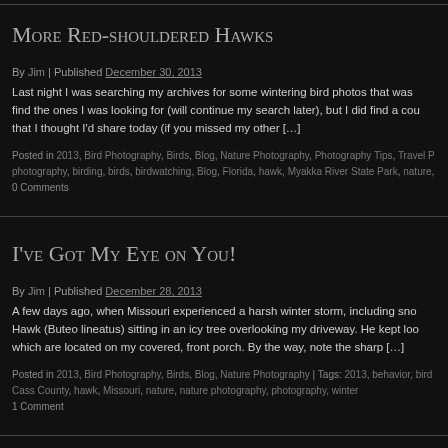More Red-shouldered Hawks
By Jim | Published December 30, 2013
Last night I was searching my archives for some wintering bird photos that was finding the ones I was looking for (will continue my search later), but I did find a cou that I thought I'd share today (if you missed my other […]
Posted in 2013, Bird Photography, Birds, Blog, Nature Photography, Photography Tips, Travel P photography, birding, birds, birdwatching, Blog, Florida, hawk, Myakka River State Park, nature, 0 Comments
I've Got My Eye on You!
By Jim | Published December 28, 2013
A few days ago, when Missouri experienced a harsh winter storm, including sno Hawk (Buteo lineatus) sitting in an icy tree overlooking my driveway. He kept loo which are located on my covered, front porch. By the way, note the sharp […]
Posted in 2013, Bird Photography, Birds, Blog, Nature Photography | Tags: 2013, behavior, bird Cass County, hawk, Missouri, nature, nature photography, photography, winter 1 Comment
Northern Harrier Delight